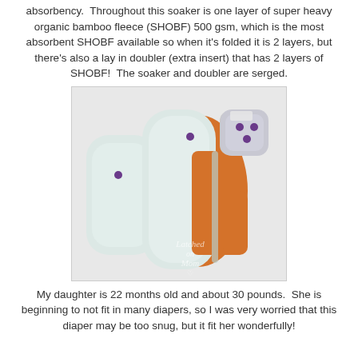absorbency.  Throughout this soaker is one layer of super heavy organic bamboo fleece (SHOBF) 500 gsm, which is the most absorbent SHOBF available so when it's folded it is 2 layers, but there's also a lay in doubler (extra insert) that has 2 layers of SHOBF!  The soaker and doubler are serged.
[Figure (photo): Photo of a cloth diaper soaker and doubler laid out, showing light gray/white fabric pads and an orange inner shell with purple snaps, watermarked with 'Latched on Mom' logo.]
My daughter is 22 months old and about 30 pounds.  She is beginning to not fit in many diapers, so I was very worried that this diaper may be too snug, but it fit her wonderfully!